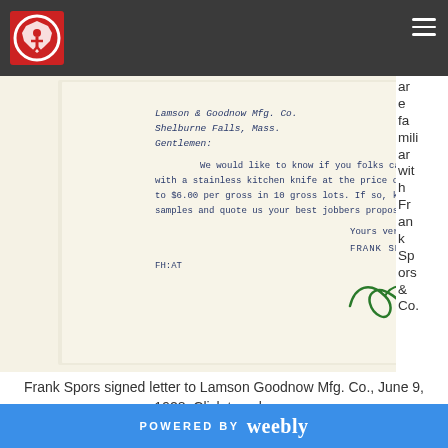Navigation bar with logo and hamburger menu
[Figure (photo): Scanned typewritten letter from Frank Spors & Co. to Lamson & Goodnow Mfg. Co., Shelburne Falls, Mass., dated context June 9, 1928. Letter text: Lamson & Goodnow Mfg. Co. / Shelburne Falls, Mass. / Gentlemen: / We would like to know if you folks can furnish us with a stainless kitchen knife at the price of about $5.00 to $6.00 per gross in 10 gross lots. If so, kindly send us samples and quote us your best jobbers proposition. / Yours very truly, / FRANK SPORS & CO. / FH:AT / [handwritten signature in green ink]]
are familiar with Frank Spors & Co.,
Frank Spors signed letter to Lamson Goodnow Mfg. Co., June 9, 1928. Click to enlarge.
POWERED BY weebly